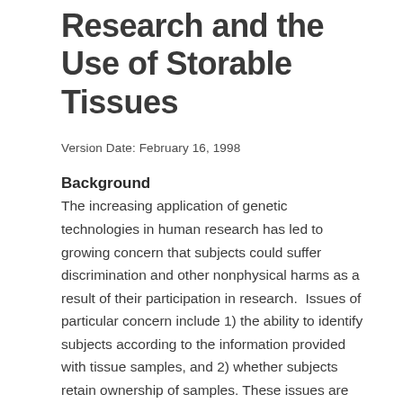Research and the Use of Storable Tissues
Version Date: February 16, 1998
Background
The increasing application of genetic technologies in human research has led to growing concern that subjects could suffer discrimination and other nonphysical harms as a result of their participation in research.  Issues of particular concern include 1) the ability to identify subjects according to the information provided with tissue samples, and 2) whether subjects retain ownership of samples. These issues are subjects of ongoing discussions within the ethics and scientific communities at local and national levels.  The Office for Human